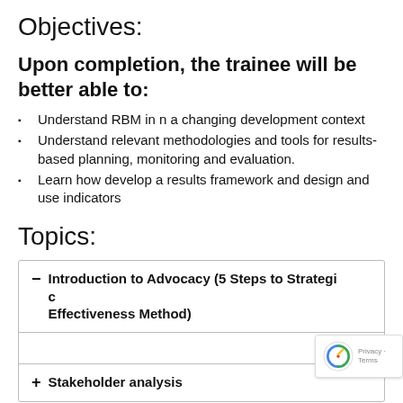Objectives:
Upon completion, the trainee will be better able to:
Understand RBM in n a changing development context
Understand relevant methodologies and tools for results-based planning, monitoring and evaluation.
Learn how develop a results framework and design and use indicators
Topics:
− Introduction to Advocacy (5 Steps to Strategic Effectiveness Method)
+ Stakeholder analysis